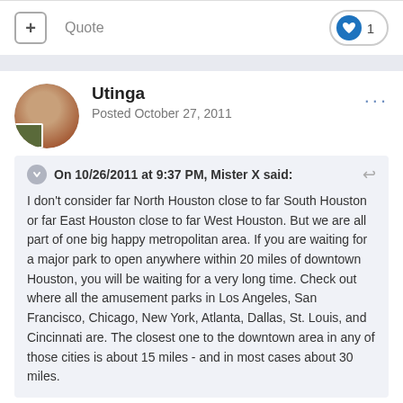+ Quote | ♥ 1
Utinga
Posted October 27, 2011
On 10/26/2011 at 9:37 PM, Mister X said:
I don't consider far North Houston close to far South Houston or far East Houston close to far West Houston. But we are all part of one big happy metropolitan area. If you are waiting for a major park to open anywhere within 20 miles of downtown Houston, you will be waiting for a very long time. Check out where all the amusement parks in Los Angeles, San Francisco, Chicago, New York, Atlanta, Dallas, St. Louis, and Cincinnati are. The closest one to the downtown area in any of those cities is about 15 miles - and in most cases about 30 miles.